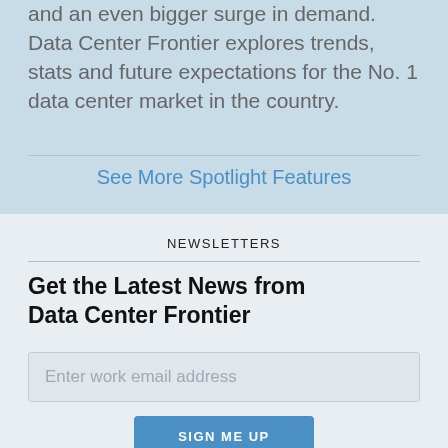and an even bigger surge in demand. Data Center Frontier explores trends, stats and future expectations for the No. 1 data center market in the country.
See More Spotlight Features
NEWSLETTERS
Get the Latest News from Data Center Frontier
Enter work email address
SIGN ME UP